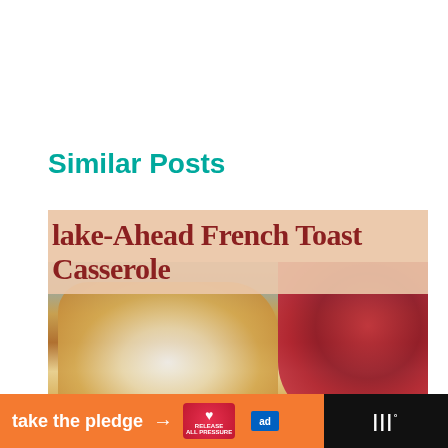Similar Posts
[Figure (photo): Recipe card showing Make-Ahead French Toast Casserole with powdered sugar on a plate with raspberries, with heart and share action buttons and a 'What's Next: Back Porch Blackberry ...' panel overlay]
take the pledge → RELEASE [ad] |||°